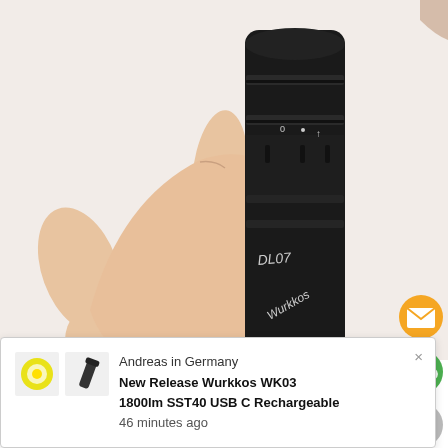[Figure (photo): A hand holding a black Wurkkos DL07 flashlight against a white background. The flashlight is black cylindrical with rings and markings on it, labeled 'DL07' and 'Wurkkos'.]
[Figure (infographic): Sidebar social icons: orange envelope/email icon, green WeChat icon, grey up-arrow icon on the right side of the page.]
[Figure (screenshot): Notification popup at bottom: shows two small product images (a round LED and a small flashlight), with text 'Andreas in Germany', 'New Release Wurkkos WK03 1800lm SST40 USB C Rechargeable', '46 minutes ago', and an X close button.]